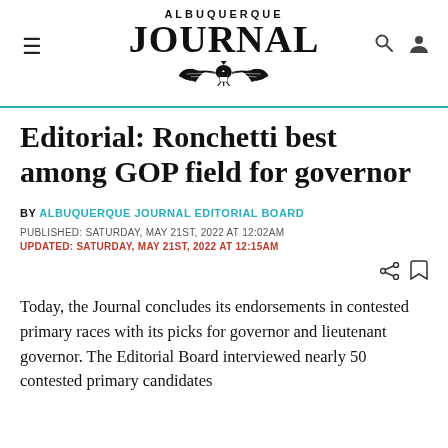ALBUQUERQUE JOURNAL
Editorial: Ronchetti best among GOP field for governor
BY ALBUQUERQUE JOURNAL EDITORIAL BOARD
PUBLISHED: SATURDAY, MAY 21ST, 2022 AT 12:02AM
UPDATED: SATURDAY, MAY 21ST, 2022 AT 12:15AM
Today, the Journal concludes its endorsements in contested primary races with its picks for governor and lieutenant governor. The Editorial Board interviewed nearly 50 contested primary candidates